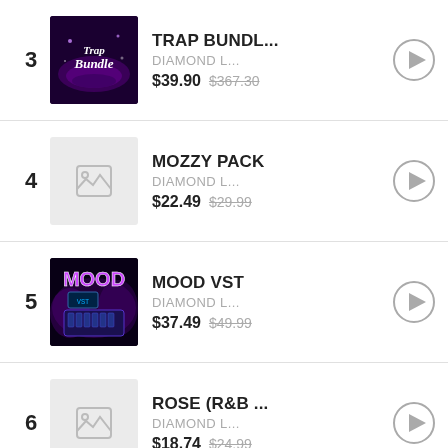3 TRAP BUNDL... DIAMOND L... $39.90 $367.30
4 MOZZY PACK DIAMOND L... $22.49 $29.99
5 MOOD VST DIAMOND L... $37.49 $49.99
6 ROSE (R&B ... DIAMOND L... $18.74 $24.99